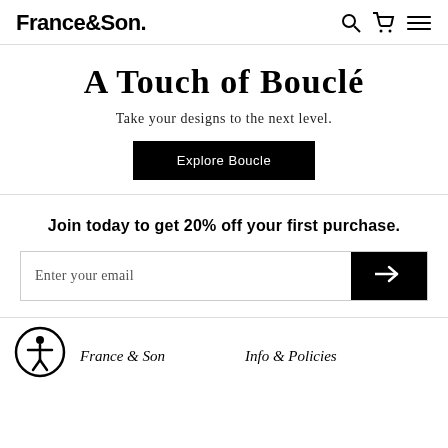France&Son.
A Touch of Bouclé
Take your designs to the next level.
Explore Boucle
Join today to get 20% off your first purchase.
Enter your email
France & Son   Info & Policies